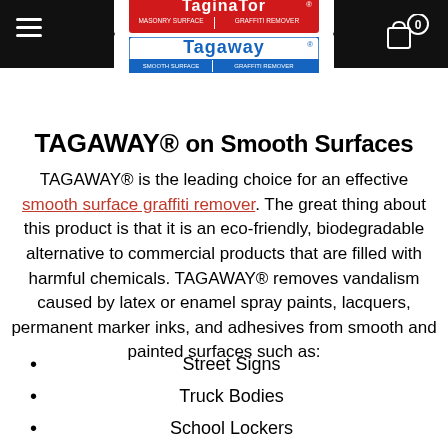[Figure (logo): Taginator Masonry Surface Graffiti Remover and Tagaway Smooth Surface Graffiti Remover logos in red and blue on white background, displayed in black navigation bar]
TAGAWAY® on Smooth Surfaces
TAGAWAY® is the leading choice for an effective smooth surface graffiti remover. The great thing about this product is that it is an eco-friendly, biodegradable alternative to commercial products that are filled with harmful chemicals. TAGAWAY® removes vandalism caused by latex or enamel spray paints, lacquers, permanent marker inks, and adhesives from smooth and painted surfaces such as:
Street Signs
Truck Bodies
School Lockers
Aluminum Poles
Stainless Steel Buses & Trains